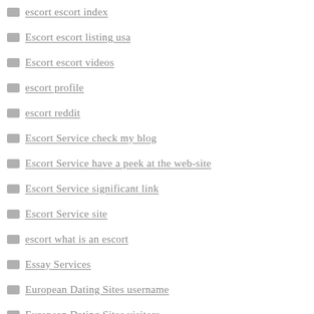escort escort index
Escort escort listing usa
Escort escort videos
escort profile
escort reddit
Escort Service check my blog
Escort Service have a peek at the web-site
Escort Service significant link
Escort Service site
escort what is an escort
Essay Services
European Dating Sites username
European Dating Sites visitors